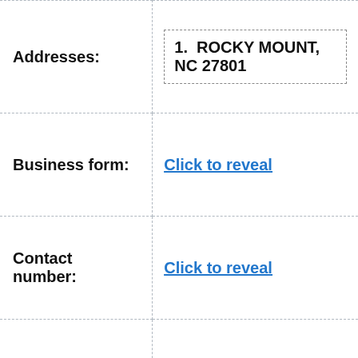| Field | Value |
| --- | --- |
| Addresses: | 1. ROCKY MOUNT, NC 27801 |
| Business form: | Click to reveal |
| Contact number: | Click to reveal |
| Contact fax: | Click to reveal |
| Officers: | 1. GORDON ROSSIE B |